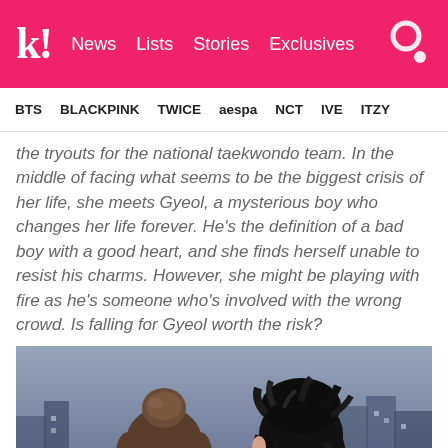k! News Lists Stories Exclusives
BTS BLACKPINK TWICE aespa NCT IVE ITZY
the tryouts for the national taekwondo team. In the middle of facing what seems to be the biggest crisis of her life, she meets Gyeol, a mysterious boy who changes her life forever. He's the definition of a bad boy with a good heart, and she finds herself unable to resist his charms. However, she might be playing with fire as he's someone who's involved with the wrong crowd. Is falling for Gyeol worth the risk?
[Figure (illustration): Anime-style illustration showing two characters from behind: a girl with brown hair in a bun on the left and a boy with black hair on the right, set against a dark blue/purple city background.]